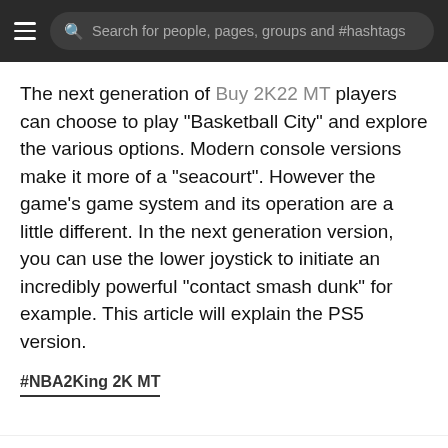Search for people, pages, groups and #hashtags
The next generation of Buy 2K22 MT players can choose to play "Basketball City" and explore the various options. Modern console versions make it more of a "seacourt". However the game's game system and its operation are a little different. In the next generation version, you can use the lower joystick to initiate an incredibly powerful "contact smash dunk" for example. This article will explain the PS5 version.
#NBA2King 2K MT
This website uses cookies to ensure you get the best experience on our website. Learn More
Got It!